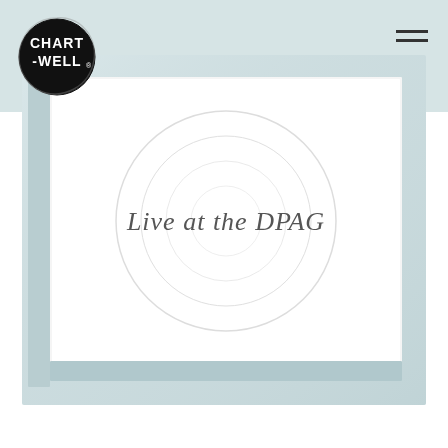[Figure (logo): Chartwell logo — circular scribble border with CHART-WELL text in bold white letters on black background]
[Figure (photo): Album or booklet in a clear plastic sleeve on a light blue-grey background. The white cover reads 'Live at the DPAG' in italic serif font.]
Live at the DPAG